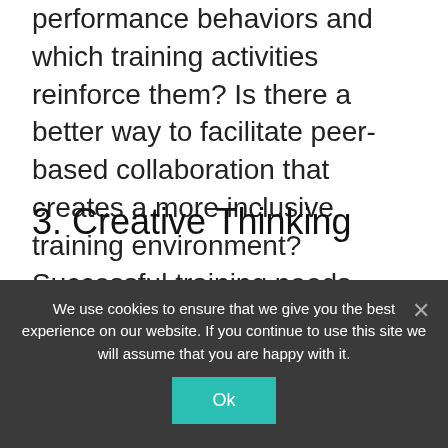performance behaviors and which training activities reinforce them? Is there a better way to facilitate peer-based collaboration that creates a more inclusive training environment? Successful training needs analysis vendors know how to follow a line of inquiry and provide effective feedback.
3. Creative Thinking
Sometimes, there's no clear-cut solution or you simply can't determine the reason why your training strategy falls short. This is
We use cookies to ensure that we give you the best experience on our website. If you continue to use this site we will assume that you are happy with it.